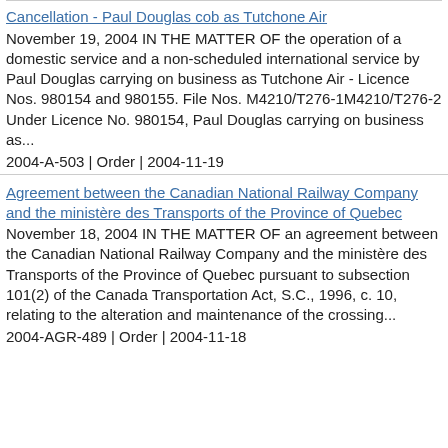Cancellation - Paul Douglas cob as Tutchone Air
November 19, 2004 IN THE MATTER OF the operation of a domestic service and a non-scheduled international service by Paul Douglas carrying on business as Tutchone Air - Licence Nos. 980154 and 980155. File Nos. M4210/T276-1M4210/T276-2 Under Licence No. 980154, Paul Douglas carrying on business as...
2004-A-503 | Order | 2004-11-19
Agreement between the Canadian National Railway Company and the ministère des Transports of the Province of Quebec
November 18, 2004 IN THE MATTER OF an agreement between the Canadian National Railway Company and the ministère des Transports of the Province of Quebec pursuant to subsection 101(2) of the Canada Transportation Act, S.C., 1996, c. 10, relating to the alteration and maintenance of the crossing...
2004-AGR-489 | Order | 2004-11-18